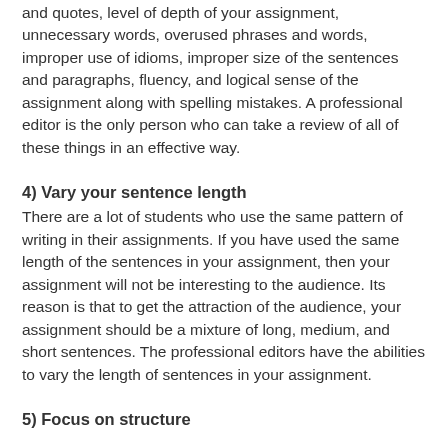and quotes, level of depth of your assignment, unnecessary words, overused phrases and words, improper use of idioms, improper size of the sentences and paragraphs, fluency, and logical sense of the assignment along with spelling mistakes. A professional editor is the only person who can take a review of all of these things in an effective way.
4) Vary your sentence length
There are a lot of students who use the same pattern of writing in their assignments. If you have used the same length of the sentences in your assignment, then your assignment will not be interesting to the audience. Its reason is that to get the attraction of the audience, your assignment should be a mixture of long, medium, and short sentences. The professional editors have the abilities to vary the length of sentences in your assignment.
5) Focus on structure
To navigate an assignment in an effective way, you should try to focus on the structure and format of the assignment. As a student, there is a possibility that you are not able to write